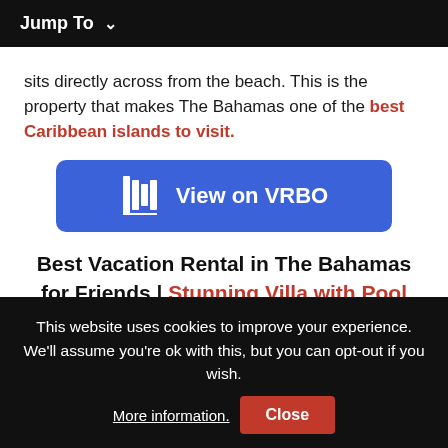Jump To ∨
sits directly across from the beach. This is the property that makes The Bahamas one of the best Caribbean islands to visit.
[Figure (other): Blue VRBO button with VRBO logo icon and text 'View on VRBO']
Best Vacation Rental in The Bahamas for Friends | Stunning Villa with Pool
This website uses cookies to improve your experience. We'll assume you're ok with this, but you can opt-out if you wish. More information. Close